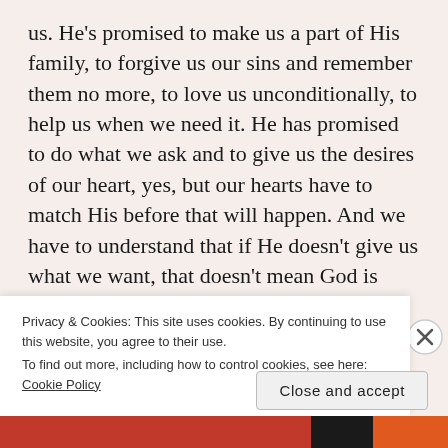us. He's promised to make us a part of His family, to forgive us our sins and remember them no more, to love us unconditionally, to help us when we need it. He has promised to do what we ask and to give us the desires of our heart, yes, but our hearts have to match His before that will happen. And we have to understand that if He doesn't give us what we want, that doesn't mean God is unfaithful. It just means it isn't time yet.
The Bible doesn't tell us specifically how our lives are going to work out. All God promises us is that
Privacy & Cookies: This site uses cookies. By continuing to use this website, you agree to their use.
To find out more, including how to control cookies, see here: Cookie Policy
Close and accept